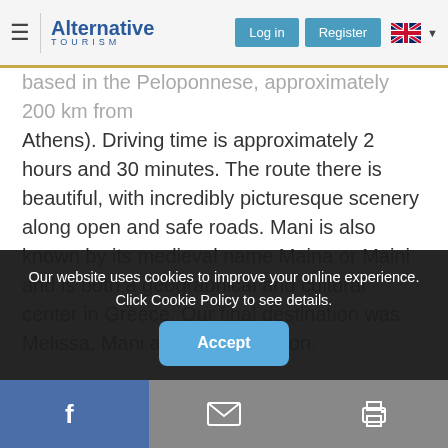Alternative Tourism — Log in | Register
based in the Peloponnese, approximately 200 km from Athens). Driving time is approximately 2 hours and 30 minutes. The route there is beautiful, with incredibly picturesque scenery along open and safe roads. Mani is also known by its medieval name Maina or Maini and is both a geographical and cultural center in Greece. Our final destination was Melissa, Mani at Laconia Region.
[Figure (photo): Photograph of ancient stone ruins/castle on a hillside with mountains in the background under a light sky — Melissa, Mani, Laconia Region, Greece.]
Our website uses cookies to improve your online experience. Click Cookie Policy to see details.
Facebook | Email | Print